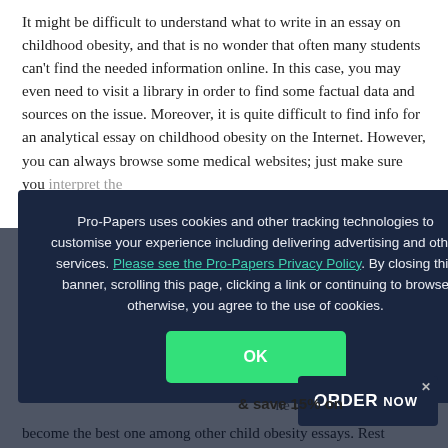It might be difficult to understand what to write in an essay on childhood obesity, and that is no wonder that often many students can't find the needed information online. In this case, you may even need to visit a library in order to find some factual data and sources on the issue. Moreover, it is quite difficult to find info for an analytical essay on childhood obesity on the Internet. However, you can always browse some medical websites; just make sure you interpret the information correctly. When writing a [paper, you will need to provide specific information so that people can understand how to find something and them. All in all, make sure that you include as much information as you can in your essay in an organized way. So, as soon as we have all this covered, what will come next?
[Figure (screenshot): Cookie consent modal overlay from Pro-Papers website. Dark navy background with text: 'Pro-Papers uses cookies and other tracking technologies to customise your experience including delivering advertising and other services. Please see the Pro-Papers Privacy Policy. By closing this banner, scrolling this page, clicking a link or continuing to browse otherwise, you agree to the use of cookies.' Green OK button below.]
...craft your children ...requirements may & save 15% on ...des, will ...p may become the best one among other child obesity essays. Rest